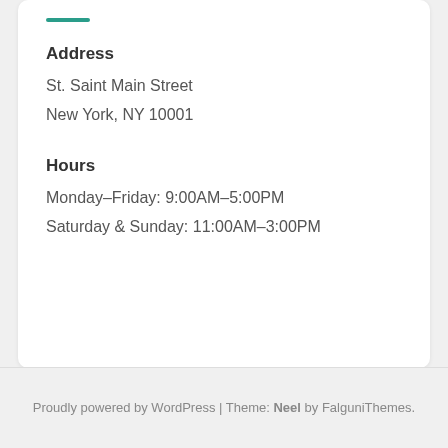Address
St. Saint Main Street
New York, NY 10001
Hours
Monday–Friday: 9:00AM–5:00PM
Saturday & Sunday: 11:00AM–3:00PM
Proudly powered by WordPress | Theme: Neel by FalguniThemes.